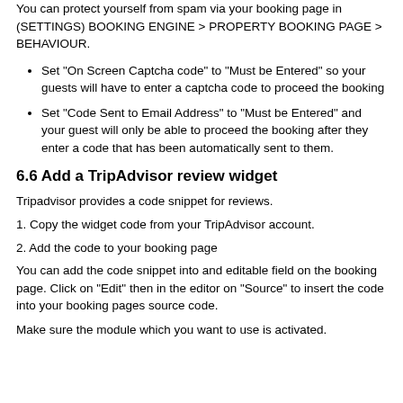You can protect yourself from spam via your booking page in (SETTINGS) BOOKING ENGINE > PROPERTY BOOKING PAGE > BEHAVIOUR.
Set "On Screen Captcha code" to "Must be Entered" so your guests will have to enter a captcha code to proceed the booking
Set "Code Sent to Email Address" to "Must be Entered" and your guest will only be able to proceed the booking after they enter a code that has been automatically sent to them.
6.6 Add a TripAdvisor review widget
Tripadvisor provides a code snippet for reviews.
1. Copy the widget code from your TripAdvisor account.
2. Add the code to your booking page
You can add the code snippet into and editable field on the booking page. Click on "Edit" then in the editor on "Source" to insert the code into your booking pages source code.
Make sure the module which you want to use is activated.